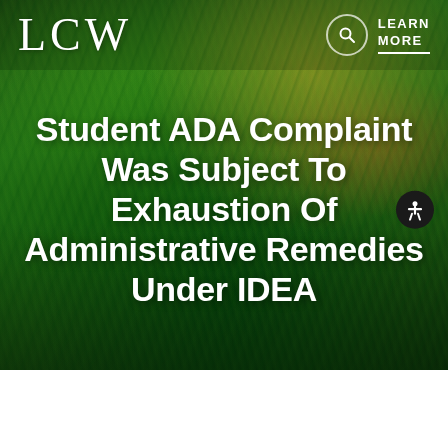[Figure (photo): Abstract green painted background with swirling brush strokes in shades of green, yellow, and hints of orange and red. Used as hero background for LCW law firm article page.]
LCW
Student ADA Complaint Was Subject To Exhaustion Of Administrative Remedies Under IDEA